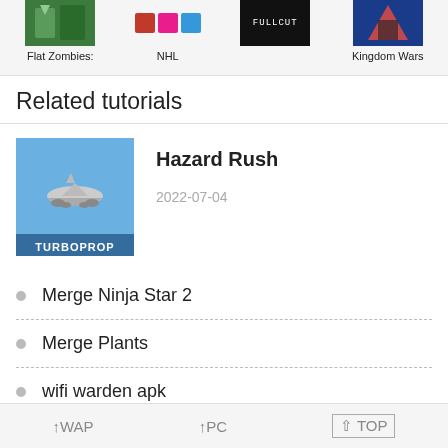[Figure (screenshot): Top strip showing four game thumbnails: Flat Zombies, NHL, Japanese text game, Kingdom Wars]
Related tutorials
[Figure (illustration): Turboprop airplane game thumbnail labeled TURBOPROP on blue background]
Hazard Rush
2022-07-04
Merge Ninja Star 2
Merge Plants
wifi warden apk
↑WAP　↑PC　↑ TOP